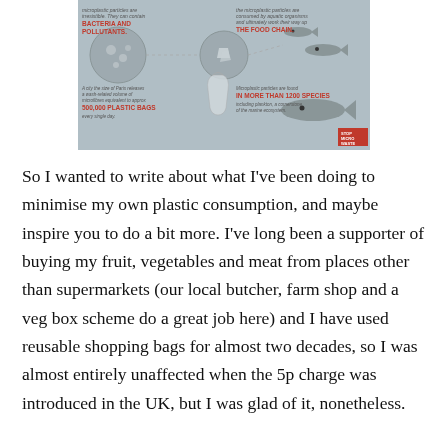[Figure (infographic): Stop Microwaste infographic showing microplastics containing bacteria and pollutants entering the food chain, found in more than 1200 species. A city the size of Paris releases microplastics equivalent to 500,000 plastic bags every single day.]
So I wanted to write about what I've been doing to minimise my own plastic consumption, and maybe inspire you to do a bit more. I've long been a supporter of buying my fruit, vegetables and meat from places other than supermarkets (our local butcher, farm shop and a veg box scheme do a great job here) and I have used reusable shopping bags for almost two decades, so I was almost entirely unaffected when the 5p charge was introduced in the UK, but I was glad of it, nonetheless.